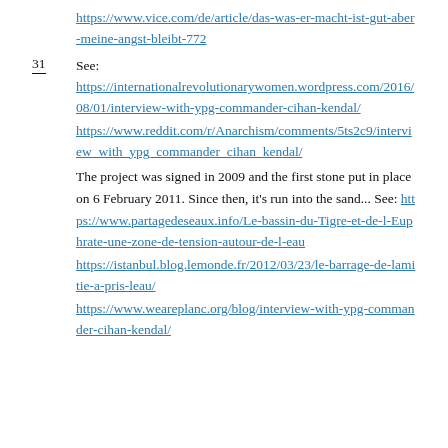https://www.vice.com/de/article/das-was-er-macht-ist-gut-aber-meine-angst-bleibt-772
31  See:
https://internationalrevolutionarywomen.wordpress.com/2016/08/01/interview-with-ypg-commander-cihan-kendal/
https://www.reddit.com/r/Anarchism/comments/5ts2c9/interview_with_ypg_commander_cihan_kendal/
The project was signed in 2009 and the first stone put in place on 6 February 2011. Since then, it's run into the sand... See: https://www.partagedeseaux.info/Le-bassin-du-Tigre-et-de-l-Euphrate-une-zone-de-tension-autour-de-l-eau
https://istanbul.blog.lemonde.fr/2012/03/23/le-barrage-de-lamitie-a-pris-leau/
https://www.weareplanc.org/blog/interview-with-ypg-commander-cihan-kendal/